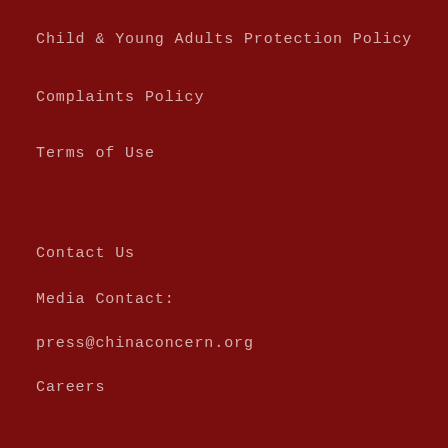Child & Young Adults Protection Policy
Complaints Policy
Terms of Use
Contact Us
Media Contact:
press@chinaconcern.org
Careers
Follow Us
[Figure (illustration): Social media icons: Facebook, YouTube, Instagram]